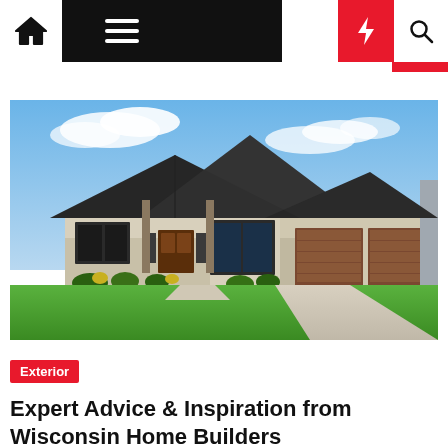Navigation bar with home, menu, dark mode, lightning/trending, and search icons
[Figure (photo): Exterior photo of a single-story Wisconsin home with dark shingle roof, stone and siding facade, three-car garage with brown doors, and manicured green lawn under blue sky]
Exterior
Expert Advice & Inspiration from Wisconsin Home Builders